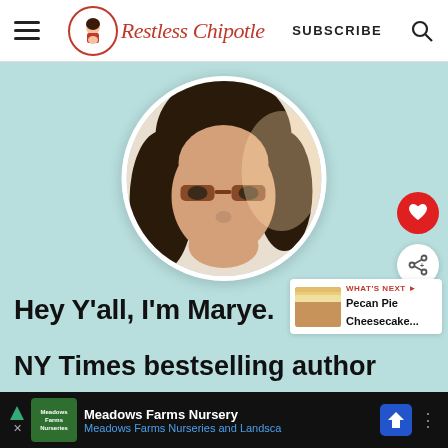Restless Chipotle | SUBSCRIBE
[Figure (photo): Profile photo of Marye, a woman with dark hair and glasses in a circular crop, on a light teal background]
Hey Y'all, I'm Marye.
NY Times bestselling author
WHAT'S NEXT → Pecan Pie Cheesecake...
Meadows Farms Nursery — Meadows Farms Nurseries and Landsca